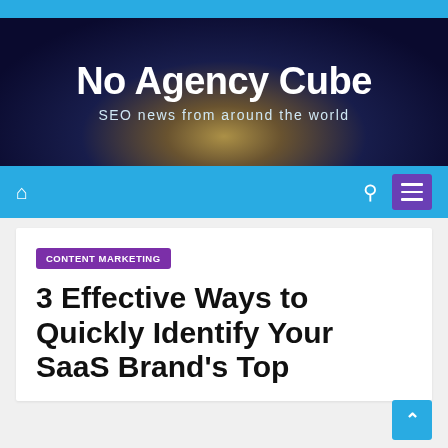No Agency Cube — SEO news from around the world
CONTENT MARKETING
3 Effective Ways to Quickly Identify Your SaaS Brand's Top